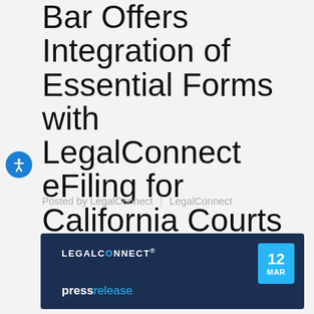Bar Offers Integration of Essential Forms with LegalConnect eFiling for California Courts
Posted by LegalConnect | LegalConnect
[Figure (logo): LegalConnect press release card with dark navy background, LegalConnect logo in white, date badge showing 12 MAR in blue, and 'pressrelease' text at bottom]